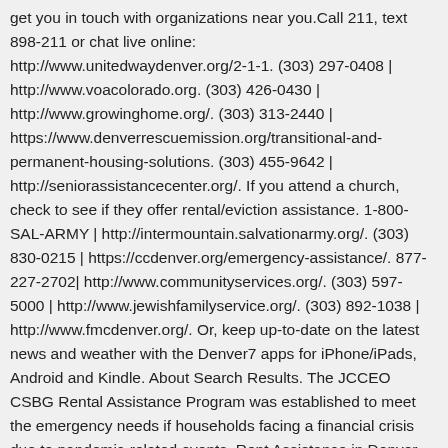get you in touch with organizations near you.Call 211, text 898-211 or chat live online: http://www.unitedwaydenver.org/2-1-1. (303) 297-0408 | http://www.voacolorado.org. (303) 426-0430 | http://www.growinghome.org/. (303) 313-2440 | https://www.denverrescuemission.org/transitional-and-permanent-housing-solutions. (303) 455-9642 | http://seniorassistancecenter.org/. If you attend a church, check to see if they offer rental/eviction assistance. 1-800-SAL-ARMY | http://intermountain.salvationarmy.org/. (303) 830-0215 | https://ccdenver.org/emergency-assistance/. 877-227-2702| http://www.communityservices.org/. (303) 597-5000 | http://www.jewishfamilyservice.org/. (303) 892-1038 | http://www.fmcdenver.org/. Or, keep up-to-date on the latest news and weather with the Denver7 apps for iPhone/iPads, Android and Kindle. About Search Results. The JCCEO CSBG Rental Assistance Program was established to meet the emergency needs if households facing a financial crisis due to pandemic-related events. Rent Assistance in Denver on YP.com. Rental assistance program in